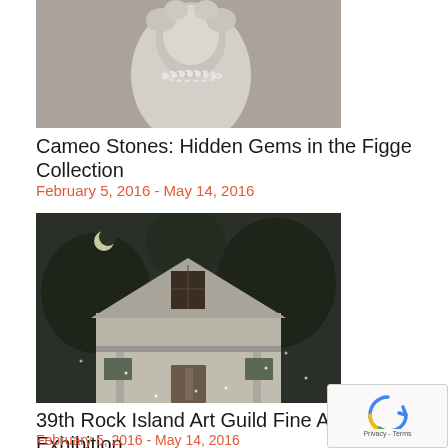[Figure (photo): Cameo stone sculpture showing a figure with pearl necklace, gray background]
Cameo Stones: Hidden Gems in the Figge Collection
February 5, 2016 - May 14, 2016
[Figure (photo): Night scene painting of a white house with a gothic arch window, crescent moon in dark sky with trees]
39th Rock Island Art Guild Fine Arts Exhibition
February 5, 2016 - May 14, 2016
[Figure (photo): Partially visible image at bottom, dark with illuminated white structure]